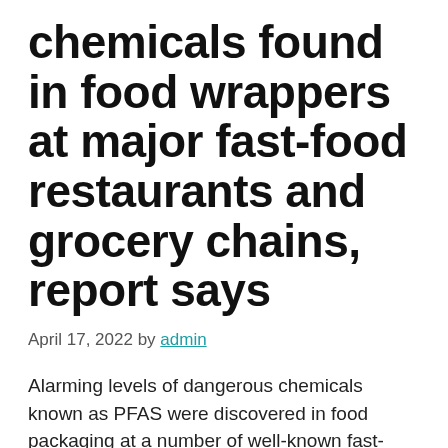chemicals found in food wrappers at major fast-food restaurants and grocery chains, report says
April 17, 2022 by admin
Alarming levels of dangerous chemicals known as PFAS were discovered in food packaging at a number of well-known fast-